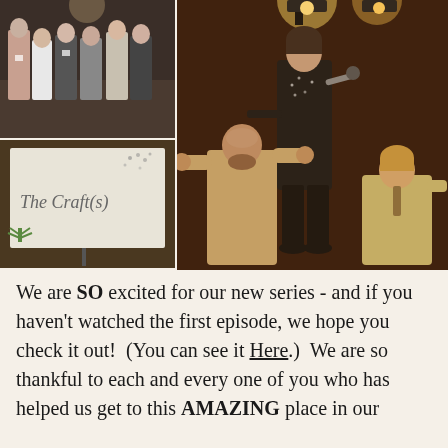[Figure (photo): Collage of three photos: top-left shows a group of women posing together indoors; bottom-left shows a projection screen displaying 'The Craft(s)' with plant imagery; right shows a woman speaking into a microphone on stage with two men nearby in a warmly lit venue.]
We are SO excited for our new series - and if you haven't watched the first episode, we hope you check it out!  (You can see it Here.)  We are so thankful to each and every one of you who has helped us get to this AMAZING place in our